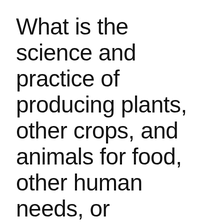What is the science and practice of producing plants, other crops, and animals for food, other human needs, or economic
Agriculture is the science and practice of producing plants, other crops, and animals for food, other human needs, or economic gain.